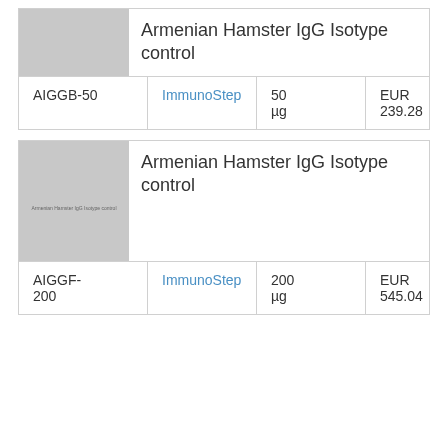[Figure (illustration): Gray placeholder image for Armenian Hamster IgG Isotype control product (top card)]
Armenian Hamster IgG Isotype control
|  |  |  |  |
| --- | --- | --- | --- |
| AIGGB-50 | ImmunoStep | 50 µg | EUR 239.28 |
[Figure (illustration): Gray placeholder image with watermark text 'Armenian Hamster IgG Isotype control' for the second product card]
Armenian Hamster IgG Isotype control
|  |  |  |  |
| --- | --- | --- | --- |
| AIGGF-200 | ImmunoStep | 200 µg | EUR 545.04 |